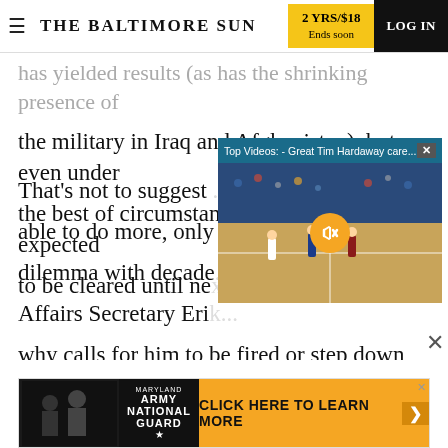THE BALTIMORE SUN | 2 YRS/$18 Ends soon | LOG IN
has yielded results (as has the shrinking presence of the military in Iraq and Afghanistan), but even under the best of circumstances, the backlog isn't expected to be cleared until ne...
[Figure (screenshot): Video overlay popup titled 'Top Videos: - Great Tim Hardaway care...' with a basketball game video thumbnail and a mute button]
That's not to suggest... able to do more, only... dilemma with decade... Affairs Secretary Eri... why calls for him to be fired or step down have been relatively mild considering the unpleasant
ADVERTISEMENT
[Figure (screenshot): Army National Guard advertisement banner with 'CLICK HERE TO LEARN MORE' call to action]